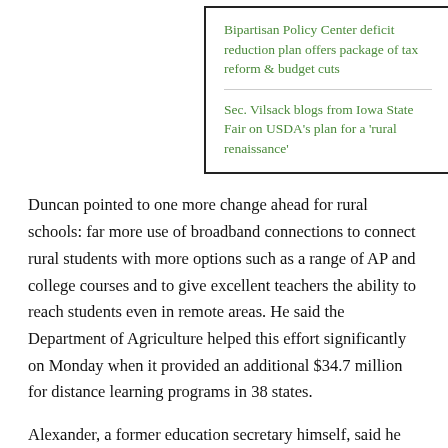Bipartisan Policy Center deficit reduction plan offers package of tax reform & budget cuts
Sec. Vilsack blogs from Iowa State Fair on USDA's plan for a 'rural renaissance'
Duncan pointed to one more change ahead for rural schools: far more use of broadband connections to connect rural students with more options such as a range of AP and college courses and to give excellent teachers the ability to reach students even in remote areas. He said the Department of Agriculture helped this effort significantly on Monday when it provided an additional $34.7 million for distance learning programs in 38 states.
Alexander, a former education secretary himself, said he favors the administration's approach, noting that the